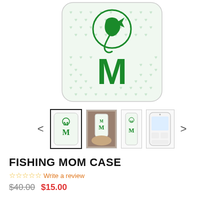[Figure (photo): Phone case product image showing white case with green heart pattern background and large green letter M with fishing logo above it]
[Figure (photo): Thumbnail gallery row with navigation arrows showing 4 product view thumbnails: front view selected, hand holding case, side view, and phone with case on]
FISHING MOM CASE
☆☆☆☆☆ Write a review
$40.00  $15.00